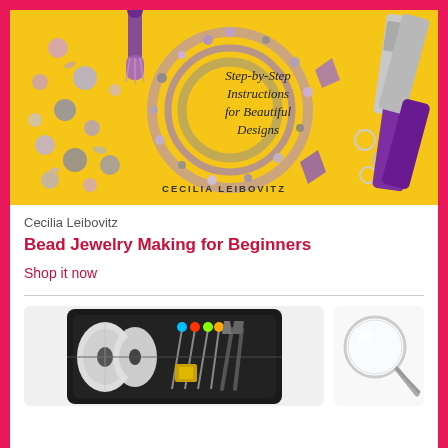[Figure (photo): Book cover of 'Bead Jewelry Making for Beginners' by Cecilia Leibovitz. Yellow background with purple beaded bracelets, scattered gemstone beads, and metal pliers. Text reads 'Step-by-Step Instructions for Beautiful Designs' and author name 'CECILIA LEIBOVITZ'.]
Cecilia Leibovitz
Bead Jewelry Making for Beginners
Shop it now
[Figure (photo): Jewelry making kit in a black case showing wire spools, colorful pins, pliers and tools.]
[Figure (photo): Magnifying glass on white background.]